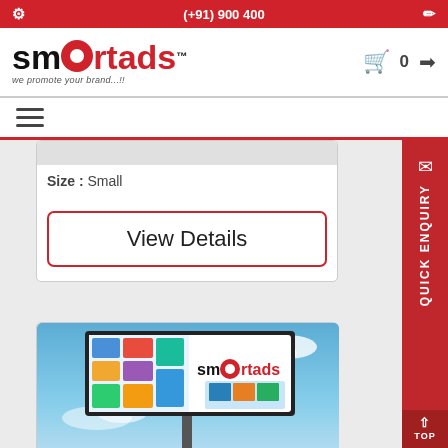(+91) 900 400
[Figure (logo): Smartads logo with tagline 'we promote your brand...!!']
Size : Small
View Details
[Figure (photo): Billboard advertisement with Smartads logo on blue sky background]
Bill Board